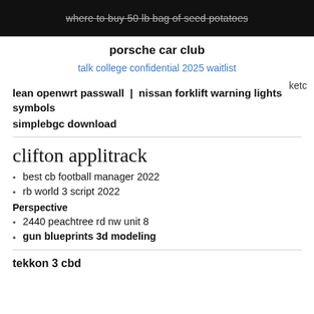where to buy 50 lb bag of seed potatoes
porsche car club
talk college confidential 2025 waitlist
lean openwrt passwall | nissan forklift warning lights symbols
simplebgc download
clifton applitrack
best cb football manager 2022
rb world 3 script 2022
Perspective
2440 peachtree rd nw unit 8
gun blueprints 3d modeling
tekkon 3 cbd